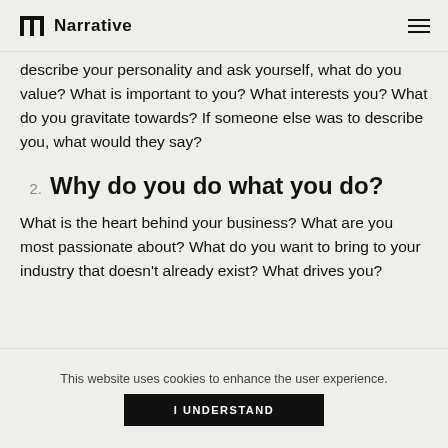Narrative
describe your personality and ask yourself, what do you value? What is important to you? What interests you? What do you gravitate towards? If someone else was to describe you, what would they say?
2. Why do you do what you do?
What is the heart behind your business? What are you most passionate about? What do you want to bring to your industry that doesn't already exist? What drives you?
This website uses cookies to enhance the user experience.
I UNDERSTAND